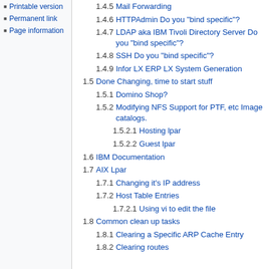Printable version
Permanent link
Page information
1.4.5 Mail Forwarding
1.4.6 HTTPAdmin Do you "bind specific"?
1.4.7 LDAP aka IBM Tivoli Directory Server Do you "bind specific"?
1.4.8 SSH Do you "bind specific"?
1.4.9 Infor LX ERP LX System Generation
1.5 Done Changing, time to start stuff
1.5.1 Domino Shop?
1.5.2 Modifying NFS Support for PTF, etc Image catalogs.
1.5.2.1 Hosting lpar
1.5.2.2 Guest lpar
1.6 IBM Documentation
1.7 AIX Lpar
1.7.1 Changing it's IP address
1.7.2 Host Table Entries
1.7.2.1 Using vi to edit the file
1.8 Common clean up tasks
1.8.1 Clearing a Specific ARP Cache Entry
1.8.2 Clearing routes